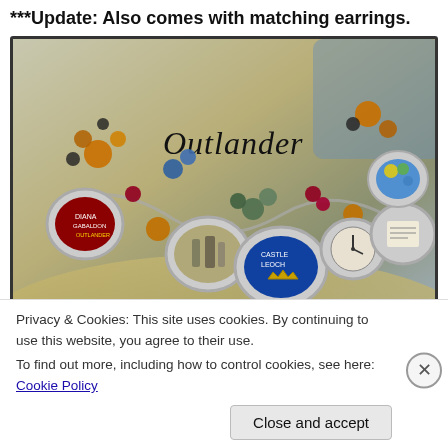***Update: Also comes with matching earrings.
[Figure (photo): Photo of an Outlander-themed charm bracelet with colorful beads (amber, blue, green, red) and multiple silver-framed oval charms containing themed images. The word 'Outlander' is written in cursive script in the center of the image.]
Privacy & Cookies: This site uses cookies. By continuing to use this website, you agree to their use.
To find out more, including how to control cookies, see here: Cookie Policy
Close and accept